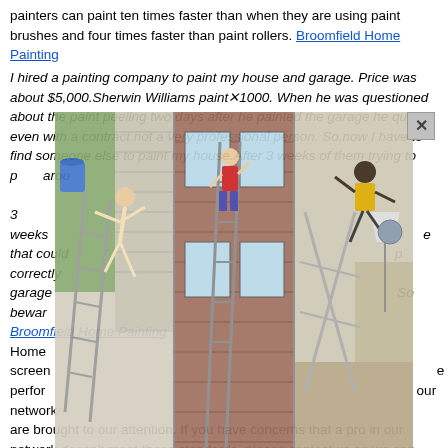painters can paint ten times faster than when they are using paint brushes and four times faster than paint rollers. Broomfield Home Painting
I hired a painting company to paint my house and garage. Price was about $5,000.Sherwin Williams paint×1000. When he was questioned about the paint peeling two days after he painted the garage he quit even with a contract not a very professional person. So,now I have to find someone else to paint my house.After 3 weeks of them trying to paint around Yes 3 weeks that could p correctly garage So beware Broomfield Home Painting Home screen performance our network concerns are brought to our attention. If you have concerns that a pro in our network doesn't meet these standards, please contact us so we can investigate. We're committed to maintaining a network of trusted home service businesses, and those who don't meet our criteria will be rejected or promptly removed.
[Figure (photo): Three photos overlaid on the text showing people falling off ladders near houses — humorous/accident-related images related to painting/home services.]